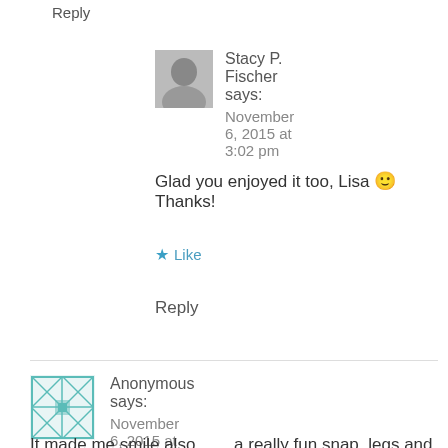Reply
Stacy P. Fischer says:
November 6, 2015 at 3:02 pm
Glad you enjoyed it too, Lisa 🙂 Thanks!
★ Like
Reply
Anonymous says:
November 6, 2015 at 1:18 pm
It made me smile also…….a really fun snap, legs and more legs. Good for you, Stacy. Love Mom